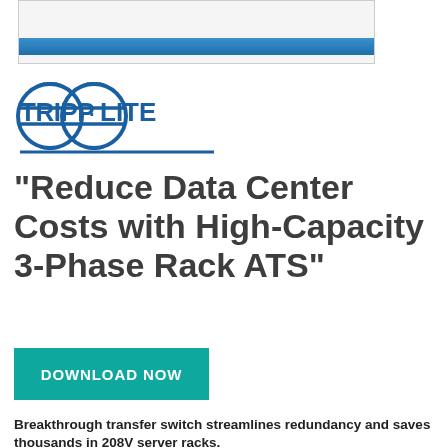[Figure (logo): Tripp Lite logo — blue text TRIPP·LITE with circular design elements and horizontal lines]
"Reduce Data Center Costs with High-Capacity 3-Phase Rack ATS"
[Figure (other): Teal/green DOWNLOAD NOW button]
Breakthrough transfer switch streamlines redundancy and saves thousands in 208V server racks.